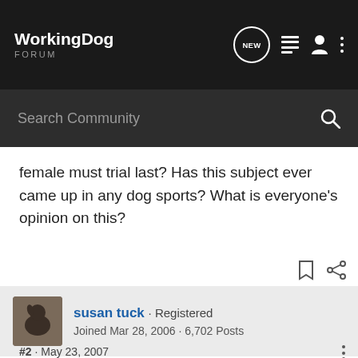WorkingDog FORUM
female must trial last? Has this subject ever came up in any dog sports? What is everyone's opinion on this?
susan tuck · Registered
Joined Mar 28, 2006 · 6,702 Posts
#2 · May 23, 2007
In schutzhund, a female in season goes last in OB & Protection.